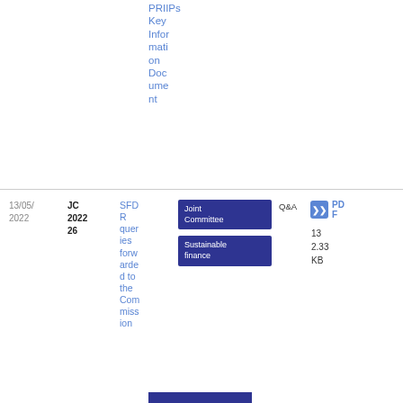PRIIPs Key Information Document
| Date | Ref | Title | Tags | Type | PDF |
| --- | --- | --- | --- | --- | --- |
| 13/05/2022 | JC 2022 26 | SFDR queries forwarded to the Commission | Joint Committee | Sustainable finance | Q&A | PDF 2.33 KB 13 |
[Figure (other): Bottom blue bar partial element]